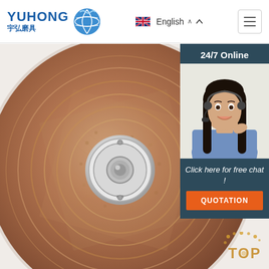YUHONG 宇弘磨具 | English
[Figure (photo): Close-up photo of a brown/copper-colored abrasive cutting wheel/disc with a white metallic center hub, showing textured fibrous surface with circular reinforcement rings]
[Figure (photo): Customer service agent woman wearing headset, smiling, with dark hair, blue shirt, against white background. Overlay panel with '24/7 Online' header, 'Click here for free chat!' text, and orange QUOTATION button]